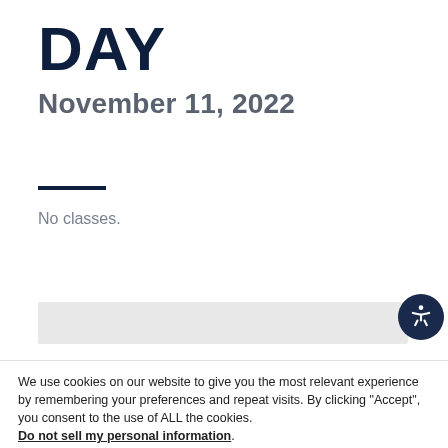DAY
November 11, 2022
No classes.
We use cookies on our website to give you the most relevant experience by remembering your preferences and repeat visits. By clicking “Accept”, you consent to the use of ALL the cookies. Do not sell my personal information.